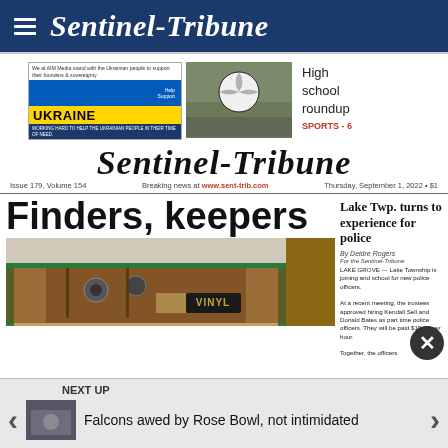Sentinel-Tribune
[Figure (other): Ukraine support advertisement with Ukrainian flag and text 'Help Support UKRAINE']
[Figure (photo): Soccer ball on field photo with text 'High school roundup SPORTS - 6']
Sentinel-Tribune
Breaking news at www.sent-trib.com   Thursday, September 1, 2022 • $1
Finders, keepers
[Figure (photo): Interior of what appears to be a restaurant or bar with wooden ceiling and a VINYL sign]
Lake Twp. turns to experience for police
By Deidre Rogers

LAKE GROVE — Lake Township is joining and school for new police officers.

At a recent meeting, the trustees approved hiring Kendall Sell and Donald Bates as part time police officers. They will be paid $18.42 per hour.

Together, the officers...
NEXT UP
[Figure (photo): Thumbnail photo for next article about Falcons at Rose Bowl]
Falcons awed by Rose Bowl, not intimidated